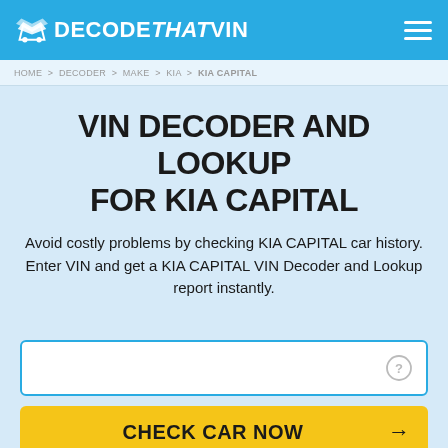DECODE THAT VIN
HOME > DECODER > MAKE > KIA > KIA CAPITAL
VIN DECODER AND LOOKUP FOR KIA CAPITAL
Avoid costly problems by checking KIA CAPITAL car history. Enter VIN and get a KIA CAPITAL VIN Decoder and Lookup report instantly.
CHECK CAR NOW →